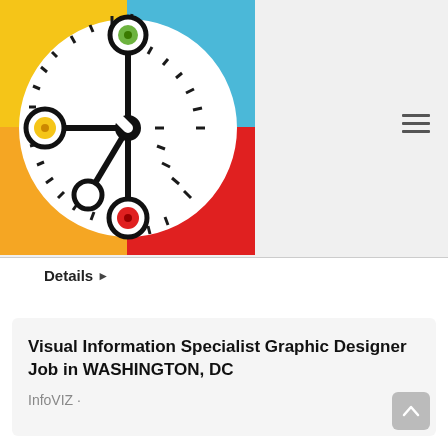[Figure (logo): InfoVIZ logo: a square divided into four colored quadrants (yellow top-left, blue top-right, orange bottom-left, red bottom-right) with a white gear/dial shape, black spokes with colored circles at ends (green top, orange left, white bottom-left, red bottom), and a white arrow pointing upper-right.]
Details ▸
Visual Information Specialist Graphic Designer Job in WASHINGTON, DC
InfoVIZ ·